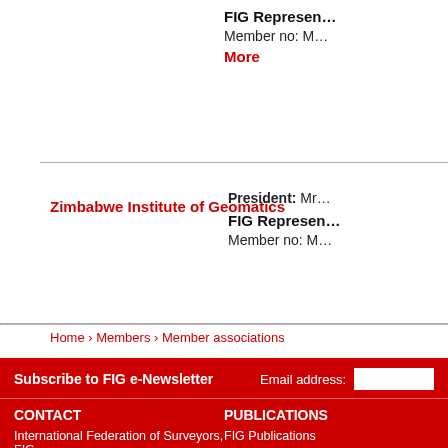FIG Represen…
Member no: M…
More
Zimbabwe Institute of Geomatics
President: Mr…
FIG Represen…
Member no: M…
Home › Members › Member associations
Subscribe to FIG e-Newsletter
Email address:
CONTACT
International Federation of Surveyors, FIG
Kalvebod Brygge 31-33
DK-1780 Copenhagen V DENMARK
FIG@fig.net
+ 45 3886 1081
PUBLICATIONS
FIG Publications
Surveyors Reference Library
Conference Proceedings
Article of Month
e-Newsletter